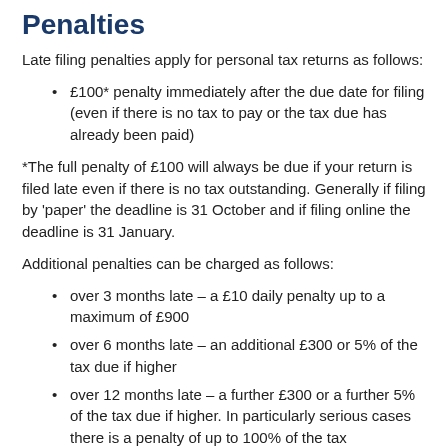Penalties
Late filing penalties apply for personal tax returns as follows:
£100* penalty immediately after the due date for filing (even if there is no tax to pay or the tax due has already been paid)
*The full penalty of £100 will always be due if your return is filed late even if there is no tax outstanding. Generally if filing by 'paper' the deadline is 31 October and if filing online the deadline is 31 January.
Additional penalties can be charged as follows:
over 3 months late – a £10 daily penalty up to a maximum of £900
over 6 months late – an additional £300 or 5% of the tax due if higher
over 12 months late – a further £300 or a further 5% of the tax due if higher. In particularly serious cases there is a penalty of up to 100% of the tax